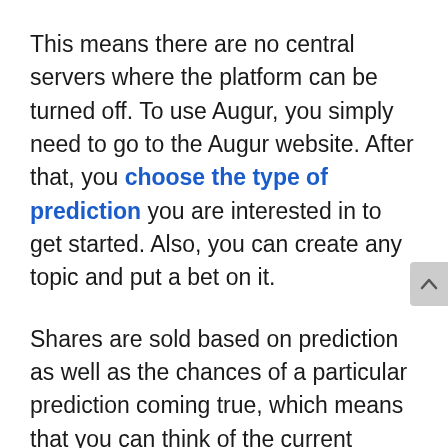This means there are no central servers where the platform can be turned off. To use Augur, you simply need to go to the Augur website. After that, you choose the type of prediction you are interested in to get started. Also, you can create any topic and put a bet on it.
Shares are sold based on prediction as well as the chances of a particular prediction coming true, which means that you can think of the current market price of any share in any market as an estimate of the probability of that outcome actually happening in the real world. For example, a share priced at 64 cents has a